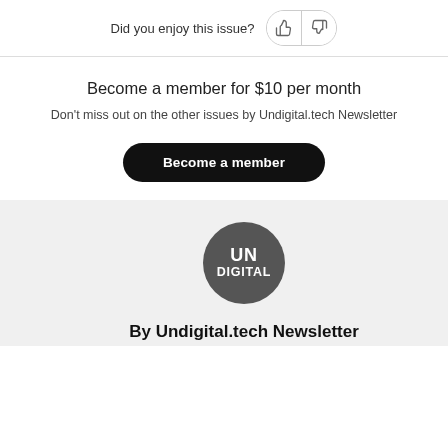Did you enjoy this issue?
Become a member for $10 per month
Don't miss out on the other issues by Undigital.tech Newsletter
Become a member
[Figure (logo): Circular dark grey logo with white bold text reading UN DIGITAL]
By Undigital.tech Newsletter